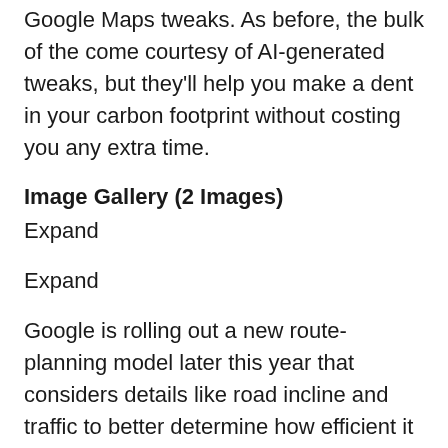Google Maps tweaks. As before, the bulk of the come courtesy of AI-generated tweaks, but they'll help you make a dent in your carbon footprint without costing you any extra time.
Image Gallery (2 Images)
Expand
Expand
Google is rolling out a new route-planning model later this year that considers details like road incline and traffic to better determine how efficient it is, rather than simply looking at time spent in transit. In cases where an eco-friendly route would match the fastest way, Google will push you to the latter, saving the world a bit of extra CO2 and saving you a few bucks potentially in rising fuel